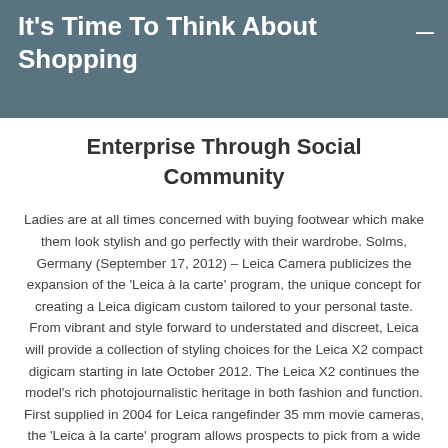It's Time To Think About Shopping
Enterprise Through Social Community
Ladies are at all times concerned with buying footwear which make them look stylish and go perfectly with their wardrobe. Solms, Germany (September 17, 2012) – Leica Camera publicizes the expansion of the 'Leica à la carte' program, the unique concept for creating a Leica digicam custom tailored to your personal taste. From vibrant and style forward to understated and discreet, Leica will provide a collection of styling choices for the Leica X2 compact digicam starting in late October 2012. The Leica X2 continues the model's rich photojournalistic heritage in both fashion and function. First supplied in 2004 for Leica rangefinder 35 mm movie cameras, the 'Leica à la carte' program allows prospects to pick from a wide range of finishes and options. The resulting, uniquely personalised digital camera is then hand-crafted at the Leica Camera